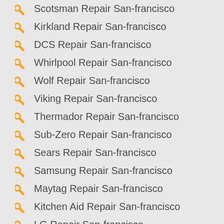Scotsman Repair San-francisco
Kirkland Repair San-francisco
DCS Repair San-francisco
Whirlpool Repair San-francisco
Wolf Repair San-francisco
Viking Repair San-francisco
Thermador Repair San-francisco
Sub-Zero Repair San-francisco
Sears Repair San-francisco
Samsung Repair San-francisco
Maytag Repair San-francisco
Kitchen Aid Repair San-francisco
LG Repair San-francisco
Kenmore Repair San-francisco